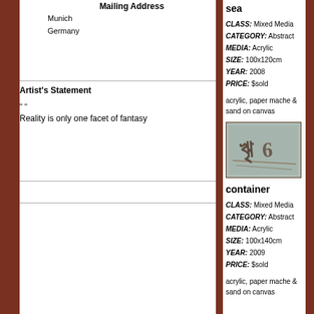Mailing Address
Munich
Germany
Artist's Statement
" "
Reality is only one facet of fantasy
sea
CLASS: Mixed Media
CATEGORY: Abstract
MEDIA: Acrylic
SIZE: 100x120cm
YEAR: 2008
PRICE: $sold
acrylic, paper mache & sand on canvas
[Figure (photo): Abstract mixed media artwork on canvas with textures and numeral markings in muted blue-brown tones, labeled 'container']
container
CLASS: Mixed Media
CATEGORY: Abstract
MEDIA: Acrylic
SIZE: 100x140cm
YEAR: 2009
PRICE: $sold
acrylic, paper mache & sand on canvas